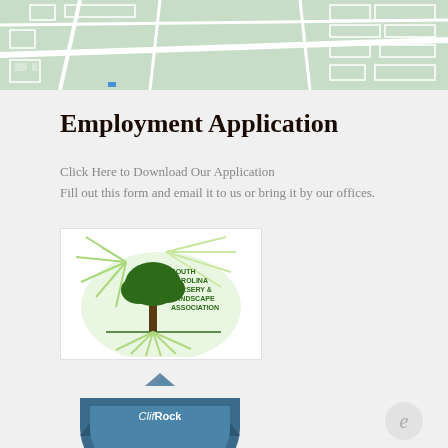[Figure (map): Aerial street map showing green spaces and neighborhood layout]
Employment Application
Click Here to Download Our Application
Fill out this form and email it to us or bring it by our offices.
[Figure (logo): South Carolina Nursery & Landscape Association logo with tree and state outline]
[Figure (logo): ClifRock Installer Authorized badge/shield logo]